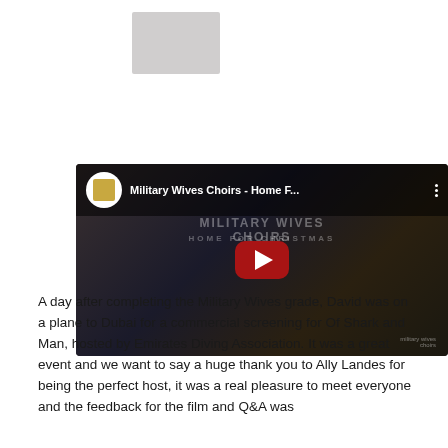[Figure (screenshot): Small thumbnail image placeholder, light gray rectangle]
[Figure (screenshot): YouTube video embed showing 'Military Wives Choirs - Home F...' with channel avatar, video title bar, play button overlay on a dark cinematic background showing a soldier hugging someone, with 'HOME FOR CHRISTMAS' text visible]
A day after completing the Military Wives grade, David was on a plane to Dubai for a commercial screening for Of Shark and Man, hosted by Emirates Diving Association. It was a great event and we want to say a huge thank you to Ally Landes for being the perfect host, it was a real pleasure to meet everyone and the feedback for the film and Q&A was